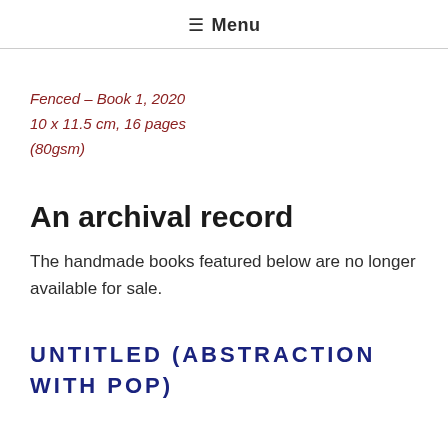☰ Menu
Fenced – Book 1, 2020
10 x 11.5 cm, 16 pages (80gsm)
An archival record
The handmade books featured below are no longer available for sale.
UNTITLED (ABSTRACTION WITH POP)